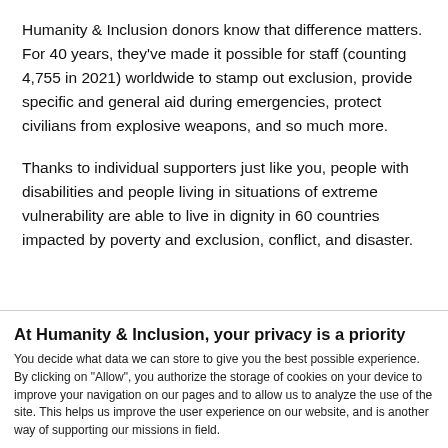Humanity & Inclusion donors know that difference matters. For 40 years, they've made it possible for staff (counting 4,755 in 2021) worldwide to stamp out exclusion, provide specific and general aid during emergencies, protect civilians from explosive weapons, and so much more.
Thanks to individual supporters just like you, people with disabilities and people living in situations of extreme vulnerability are able to live in dignity in 60 countries impacted by poverty and exclusion, conflict, and disaster.
At Humanity & Inclusion, your privacy is a priority
You decide what data we can store to give you the best possible experience. By clicking on "Allow", you authorize the storage of cookies on your device to improve your navigation on our pages and to allow us to analyze the use of the site. This helps us improve the user experience on our website, and is another way of supporting our missions in field.